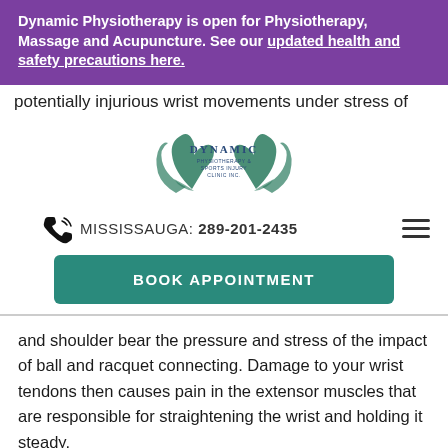Dynamic Physiotherapy is open for Physiotherapy, Massage and Acupuncture. See our updated health and safety precautions here.
potentially injurious wrist movements under stress of
[Figure (logo): Dynamic Physiotherapy & Sports Injury Clinic Inc. logo with two hands and leaves]
MISSISSAUGA: 289-201-2435
BOOK APPOINTMENT
and shoulder bear the pressure and stress of the impact of ball and racquet connecting. Damage to your wrist tendons then causes pain in the extensor muscles that are responsible for straightening the wrist and holding it steady.
Along with initiating pain, this condition inhibits your ability when playing tennis. It makes it difficult to